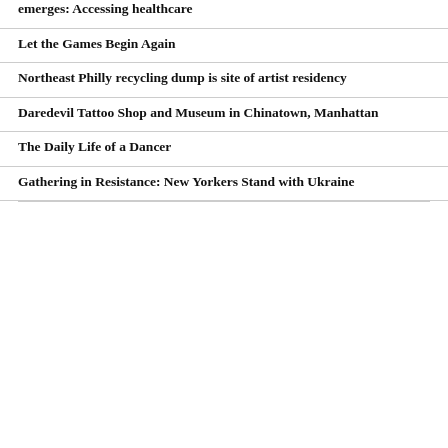emerges: Accessing healthcare
Let the Games Begin Again
Northeast Philly recycling dump is site of artist residency
Daredevil Tattoo Shop and Museum in Chinatown, Manhattan
The Daily Life of a Dancer
Gathering in Resistance: New Yorkers Stand with Ukraine